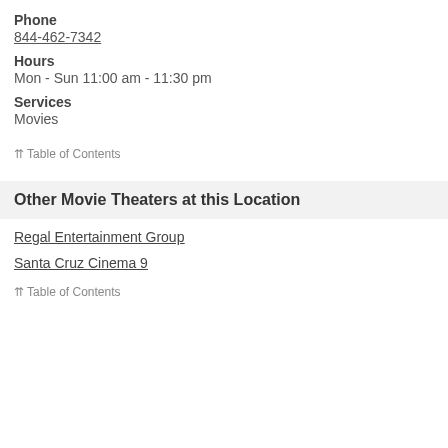Phone
844-462-7342
Hours
Mon - Sun 11:00 am - 11:30 pm
Services
Movies
⇈ Table of Contents
Other Movie Theaters at this Location
Regal Entertainment Group
Santa Cruz Cinema 9
⇈ Table of Contents